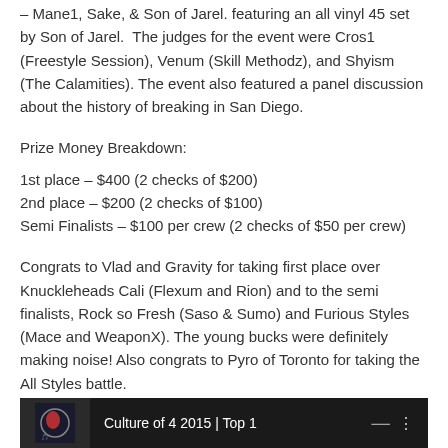– Mane1, Sake, & Son of Jarel. featuring an all vinyl 45 set by Son of Jarel.  The judges for the event were Cros1 (Freestyle Session), Venum (Skill Methodz), and Shyism (The Calamities). The event also featured a panel discussion about the history of breaking in San Diego.
Prize Money Breakdown:
1st place – $400 (2 checks of $200)
2nd place – $200 (2 checks of $100)
Semi Finalists – $100 per crew (2 checks of $50 per crew)
Congrats to Vlad and Gravity for taking first place over Knuckleheads Cali (Flexum and Rion) and to the semi finalists, Rock so Fresh (Saso & Sumo) and Furious Styles (Mace and WeaponX). The young bucks were definitely making noise! Also congrats to Pyro of Toronto for taking the All Styles battle.
Check out videos from the event below.
[Figure (screenshot): Video thumbnail showing a dark background with a person and text 'Culture of 4 2015 | Top 1' with video controls]